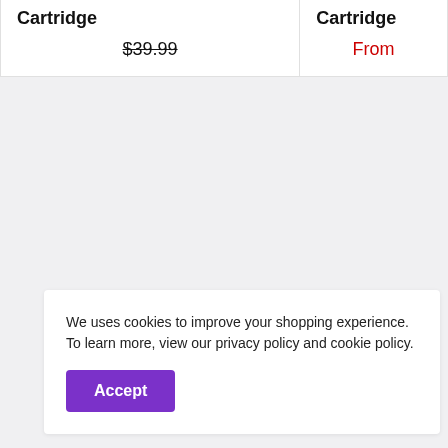Cartridge
$39.99 (strikethrough)
Cartridge
From
We uses cookies to improve your shopping experience. To learn more, view our privacy policy and cookie policy.
Accept